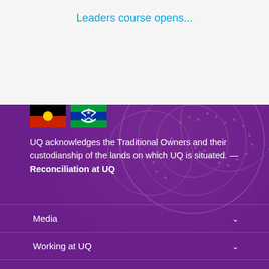Leaders course opens...
[Figure (illustration): Aboriginal flag and Torres Strait Islander flag side by side]
UQ acknowledges the Traditional Owners and their custodianship of the lands on which UQ is situated. — Reconciliation at UQ
Media
Working at UQ
Current students
Library